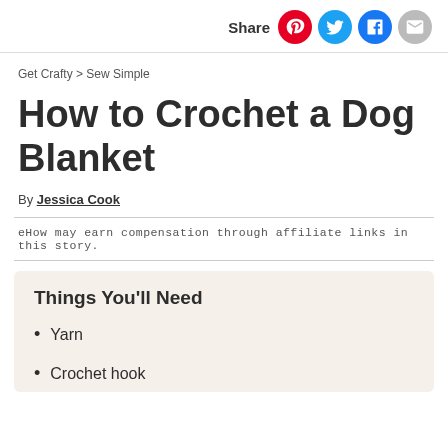Share
Get Crafty > Sew Simple
How to Crochet a Dog Blanket
By Jessica Cook
eHow may earn compensation through affiliate links in this story.
Things You'll Need
Yarn
Crochet hook